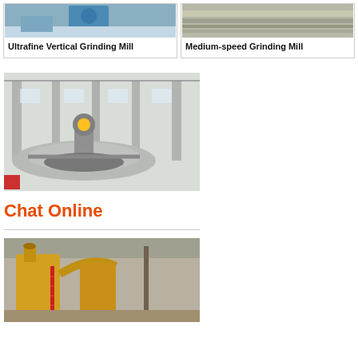[Figure (photo): Industrial ultrafine vertical grinding mill machine in factory setting with blue equipment visible]
Ultrafine Vertical Grinding Mill
[Figure (photo): Medium-speed grinding mill showing flat conveyor or roller surface from above]
Medium-speed Grinding Mill
[Figure (photo): Large industrial grinding mill disk/table mechanism inside a factory warehouse, showing circular gear and arm assembly]
Chat Online
[Figure (photo): Grinding mill or dust collector system with yellow cylindrical hoppers inside an industrial shed]